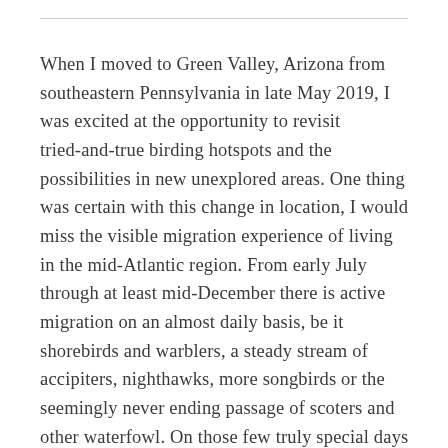When I moved to Green Valley, Arizona from southeastern Pennsylvania in late May 2019, I was excited at the opportunity to revisit tried-and-true birding hotspots and the possibilities in new unexplored areas. One thing was certain with this change in location, I would miss the visible migration experience of living in the mid-Atlantic region. From early July through at least mid-December there is active migration on an almost daily basis, be it shorebirds and warblers, a steady stream of accipiters, nighthawks, more songbirds or the seemingly never ending passage of scoters and other waterfowl. On those few truly special days the ground could be covered